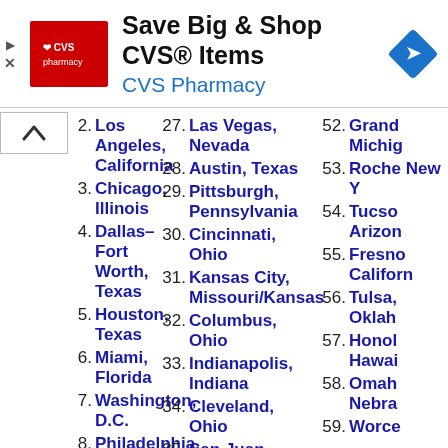[Figure (other): CVS Pharmacy advertisement banner with logo, text 'Save Big & Shop CVS® Items', 'CVS Pharmacy', and navigation arrow icon]
2. Los Angeles, California
3. Chicago, Illinois
4. Dallas–Fort Worth, Texas
5. Houston, Texas
6. Miami, Florida
7. Washington, D.C.
8. Philadelphia, Pennsylvania
9. Atlanta, Georgia
27. Las Vegas, Nevada
28. Austin, Texas
29. Pittsburgh, Pennsylvania
30. Cincinnati, Ohio
31. Kansas City, Missouri/Kansas
32. Columbus, Ohio
33. Indianapolis, Indiana
34. Cleveland, Ohio
35. San Juan,
52. Grand, Michigan
53. Roche, New Y
54. Tucso, Arizon
55. Fresno, Californ
56. Tulsa, Oklah
57. Honol, Hawai
58. Omah, Nebra
59. Worce